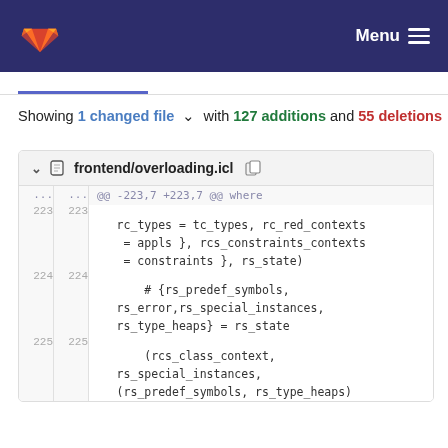GitLab Menu
Showing 1 changed file with 127 additions and 55 deletions
frontend/overloading.icl
@@ -223,7 +223,7 @@ where
223  223
    rc_types = tc_types, rc_red_contexts
     = appls }, rcs_constraints_contexts
     = constraints }, rs_state)
224  224
            # {rs_predef_symbols,
    rs_error,rs_special_instances,
    rs_type_heaps} = rs_state
225  225
            (rcs_class_context,
    rs_special_instances,
    (rs_predef_symbols, rs_type_heaps)